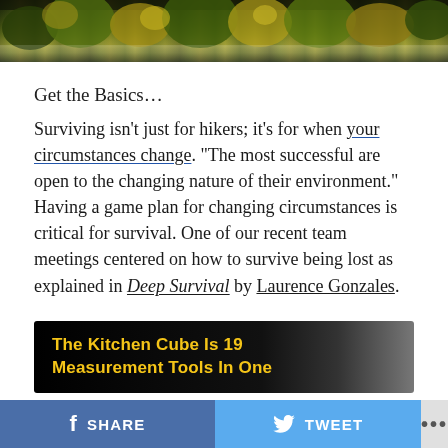[Figure (photo): Header photo of trees and foliage, autumn colors, dark green and golden yellow tones]
Get the Basics...
Surviving isn’t just for hikers; it’s for when your circumstances change. “The most successful are open to the changing nature of their environment.” Having a game plan for changing circumstances is critical for survival. One of our recent team meetings centered on how to survive being lost as explained in Deep Survival by Laurence Gonzales.
[Figure (other): Advertisement banner: The Kitchen Cube Is 19 Measurement Tools In One]
SHARE
TWEET